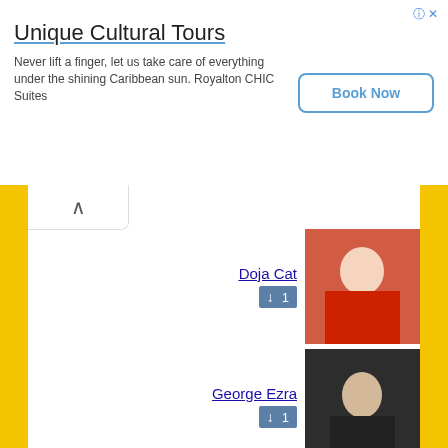[Figure (screenshot): Advertisement banner for Unique Cultural Tours / Royalton CHIC Suites with Book Now button]
Unique Cultural Tours
Never lift a finger, let us take care of everything under the shining Caribbean sun. Royalton CHIC Suites
Book Now
Doja Cat ↓ 1
George Ezra ↓ 1
6ix9ine ↓ 1
Harry Styles